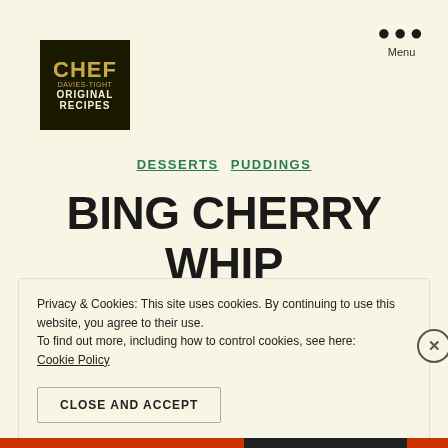[Figure (logo): Chef Davies-Tight Original Recipes logo — black background with gold CHEF text and white ORIGINAL RECIPES text]
Menu
DESSERTS  PUDDINGS
BING CHERRY WHIP
Privacy & Cookies: This site uses cookies. By continuing to use this website, you agree to their use.
To find out more, including how to control cookies, see here:
Cookie Policy
CLOSE AND ACCEPT